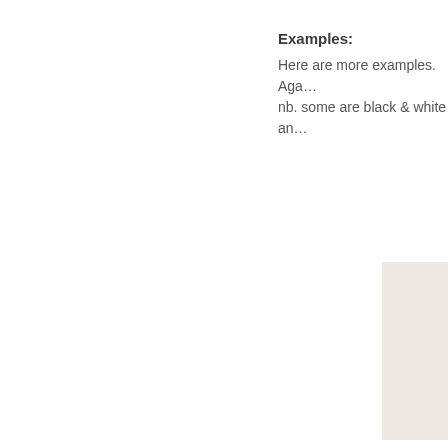Examples:
Here are more examples. Aga… nb. some are black & white an…
[Figure (other): A partially visible light beige/cream colored rectangular panel or image appearing in the bottom-right corner of the page, cropped at the right and bottom edges.]